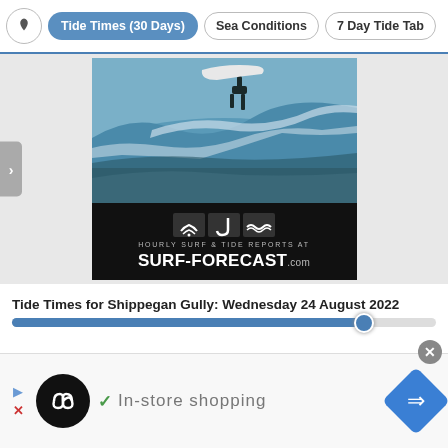Tide Times (30 Days) | Sea Conditions | 7 Day Tide Tab
[Figure (photo): Surf advertisement image showing a surfer riding a wave with text 'HOURLY SURF & TIDE REPORTS AT SURF-FORECAST.com']
Tide Times for Shippegan Gully: Wednesday 24 August 2022
[Figure (infographic): Bottom banner advertisement showing infinity logo, checkmark, 'In-store shopping' text, and blue diamond navigation icon]